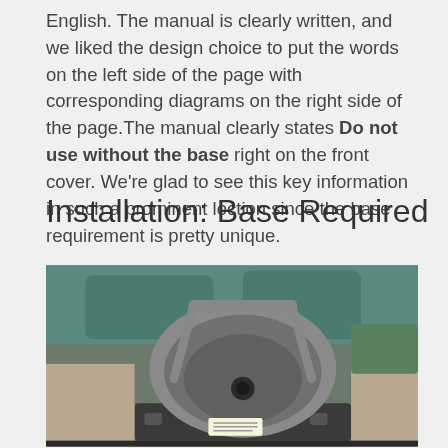English. The manual is clearly written, and we liked the design choice to put the words on the left side of the page with corresponding diagrams on the right side of the page.The manual clearly states Do not use without the base right on the front cover. We're glad to see this key information in such a prominent loction since the base requirement is pretty unique.
Installation: Base Required
[Figure (photo): Photo of an infant car seat installed in the rear seat of a vehicle, showing the seat facing rearward with a metal handle visible, mounted on a base, with car interior visible including tan/beige upholstery and teal/green headrests in the background.]